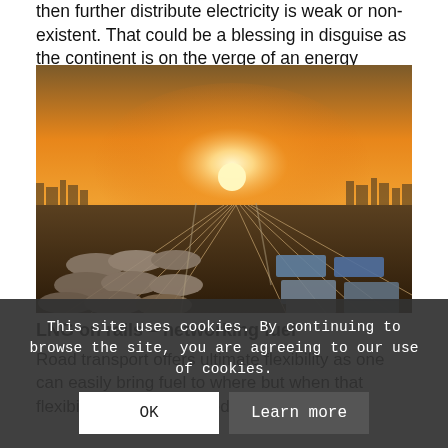then further distribute electricity is weak or non-existent. That could be a blessing in disguise as the continent is on the verge of an energy revolution.
[Figure (photo): Aerial view of a large railway freight yard at sunset/sunrise, showing multiple train tracks with freight cars including tank cars and container flatcars, warm orange-golden light from the low sun on the horizon.]
LNG on rails – networking fuel
Road transport offers ultimate flexibility as one can easily bring fuel to where but when that flexibility is not even needed it comes at a
This site uses cookies. By continuing to browse the site, you are agreeing to our use of cookies.